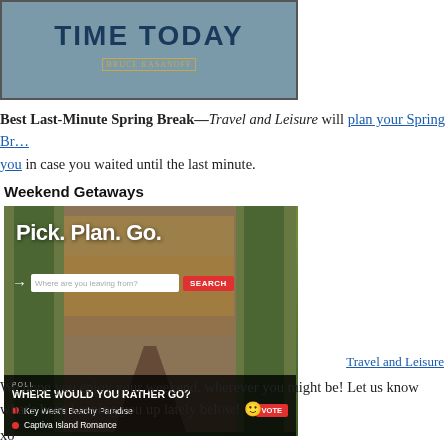[Figure (photo): Partial book cover showing title text 'TIME TODAY' and author name 'BRUCE KASANOFF' on a blue-gray background]
Best Last-Minute Spring Break—Travel and Leisure will plan your Spring Break for you in case you waited until the last minute.
Weekend Getaways
[Figure (screenshot): Travel and Leisure website screenshot showing 'Pick. Plan. Go.' headline with a search bar, and a poll asking 'WHERE WOULD YOU RATHER GO?' with options 'Key West's Beachy Paradise' and 'Captiva Island Romance']
Travel and Leisure
We hope you enjoy your weekend, wherever you might be! Let us know what's been keeping you up lately below! 🙂
xo
The Women on Fire Team